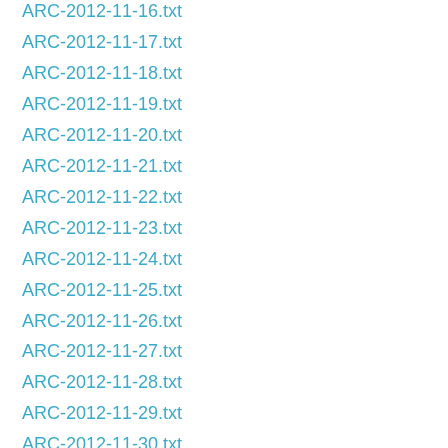ARC-2012-11-16.txt
ARC-2012-11-17.txt
ARC-2012-11-18.txt
ARC-2012-11-19.txt
ARC-2012-11-20.txt
ARC-2012-11-21.txt
ARC-2012-11-22.txt
ARC-2012-11-23.txt
ARC-2012-11-24.txt
ARC-2012-11-25.txt
ARC-2012-11-26.txt
ARC-2012-11-27.txt
ARC-2012-11-28.txt
ARC-2012-11-29.txt
ARC-2012-11-30.txt
ARC-2012-12-01.txt
ARC-2012-12-02.txt
ARC-2012-12-03.txt
ARC-2012-12-04.txt
ARC-2012-12-05.txt
ARC-2012-12-06.txt
ARC-2012-12-07.txt
ARC-2012-12-08.txt